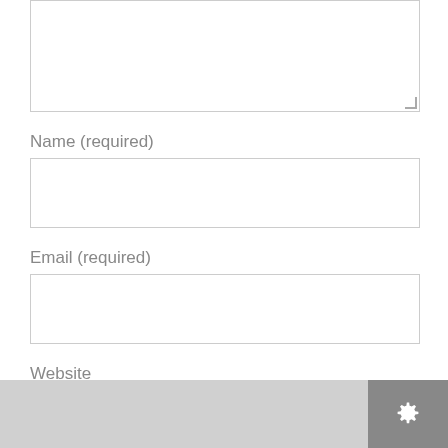[Figure (screenshot): Comment form textarea (top portion visible, partially cropped)]
Name (required)
[Figure (screenshot): Name input field (empty text box)]
Email (required)
[Figure (screenshot): Email input field (empty text box)]
Website
[Figure (screenshot): Website input field (empty text box)]
Submit Comment
This site uses Akismet to reduce spam. Learn how your comment data is processed.
[Figure (logo): Gear/settings icon in dark grey triangle at bottom-right corner]